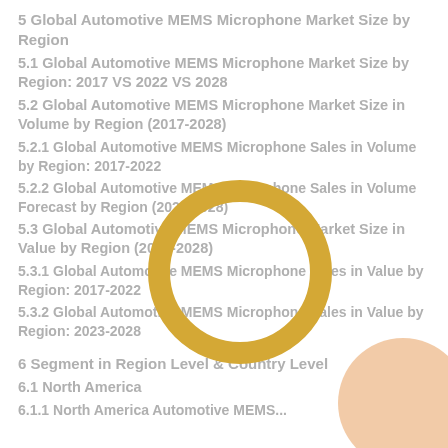5 Global Automotive MEMS Microphone Market Size by Region
5.1 Global Automotive MEMS Microphone Market Size by Region: 2017 VS 2022 VS 2028
5.2 Global Automotive MEMS Microphone Market Size in Volume by Region (2017-2028)
5.2.1 Global Automotive MEMS Microphone Sales in Volume by Region: 2017-2022
5.2.2 Global Automotive MEMS Microphone Sales in Volume Forecast by Region (2023-2028)
5.3 Global Automotive MEMS Microphone Market Size in Value by Region (2017-2028)
5.3.1 Global Automotive MEMS Microphone Sales in Value by Region: 2017-2022
5.3.2 Global Automotive MEMS Microphone Sales in Value by Region: 2023-2028
6 Segment in Region Level & Country Level
6.1 North America
6.1.1 North America Automotive MEMS...